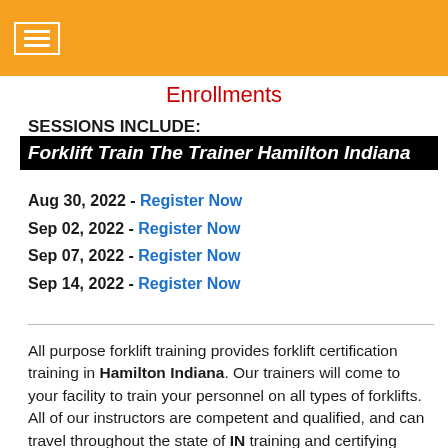Enrollments
SESSIONS INCLUDE:
Forklift Train The Trainer Hamilton Indiana
Aug 30, 2022 - Register Now
Sep 02, 2022 - Register Now
Sep 07, 2022 - Register Now
Sep 14, 2022 - Register Now
All purpose forklift training provides forklift certification training in Hamilton Indiana. Our trainers will come to your facility to train your personnel on all types of forklifts. All of our instructors are competent and qualified, and can travel throughout the state of IN training and certifying operators. Training will be conducted at your facility